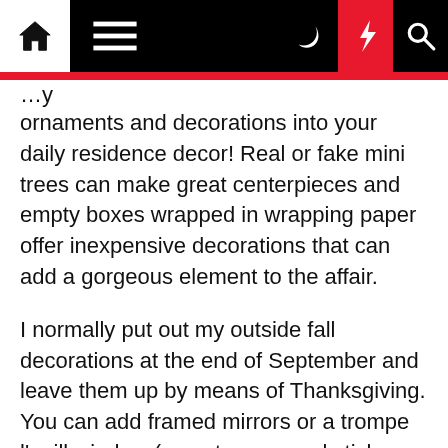[navigation bar with home, menu, moon, lightning, search icons]
ornaments and decorations into your daily residence decor! Real or fake mini trees can make great centerpieces and empty boxes wrapped in wrapping paper offer inexpensive decorations that can add a gorgeous element to the affair.
I normally put out my outside fall decorations at the end of September and leave them up by means of Thanksgiving. You can add framed mirrors or a trompe l'oeill window (a poster or mural stick-on that looks like the genuine issue) but be careful not to make it look tacky, unless you're going for a kitschy appear. We do not commence 'til after Thanksgiving but my late grandmother began decorating for the coming Christmas holidays January 15th. Capture the true spirit of the theatre by decorating your venue in Broadway fashion. So, I thought of